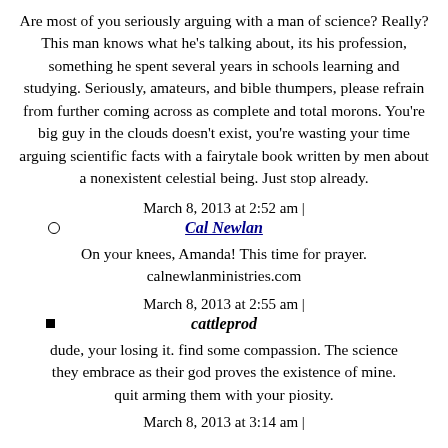Are most of you seriously arguing with a man of science? Really? This man knows what he's talking about, its his profession, something he spent several years in schools learning and studying. Seriously, amateurs, and bible thumpers, please refrain from further coming across as complete and total morons. You're big guy in the clouds doesn't exist, you're wasting your time arguing scientific facts with a fairytale book written by men about a nonexistent celestial being. Just stop already.
March 8, 2013 at 2:52 am |
Cal Newlan
On your knees, Amanda! This time for prayer. calnewlanministries.com
March 8, 2013 at 2:55 am |
cattleprod
dude, your losing it. find some compassion. The science they embrace as their god proves the existence of mine. quit arming them with your piosity.
March 8, 2013 at 3:14 am |